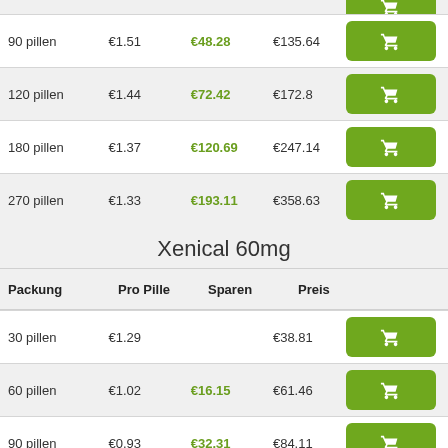| Packung | Pro Pille | Sparen | Preis |  |
| --- | --- | --- | --- | --- |
| 90 pillen | €1.51 | €48.28 | €135.64 | cart |
| 120 pillen | €1.44 | €72.42 | €172.8 | cart |
| 180 pillen | €1.37 | €120.69 | €247.14 | cart |
| 270 pillen | €1.33 | €193.11 | €358.63 | cart |
Xenical 60mg
| Packung | Pro Pille | Sparen | Preis |  |
| --- | --- | --- | --- | --- |
| 30 pillen | €1.29 |  | €38.81 | cart |
| 60 pillen | €1.02 | €16.15 | €61.46 | cart |
| 90 pillen | €0.93 | €32.31 | €84.11 | cart |